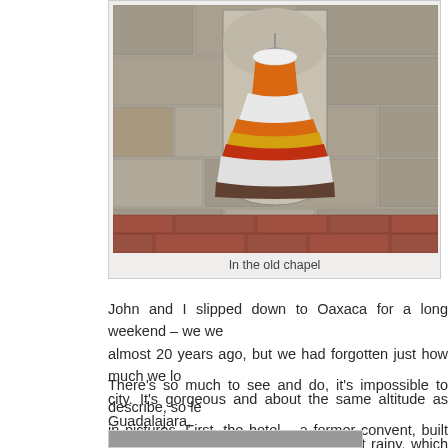[Figure (photo): A traditional Mexican dress with orange, white, and red bands hanging in a stone niche in an old chapel wall]
In the old chapel
John and I slipped down to Oaxaca for a long weekend – we we almost 20 years ago, but we had forgotten just how much we lo city. It's gorgeous and about the same altitude as Guadalajara, weather is nice – in fact, it's been a bit rainy, which we enjoy imm
There's so much to see and do, it's impossible to describe, so le in pictures. First, the hotel – a former convent, built in the 16th ce just lovely.